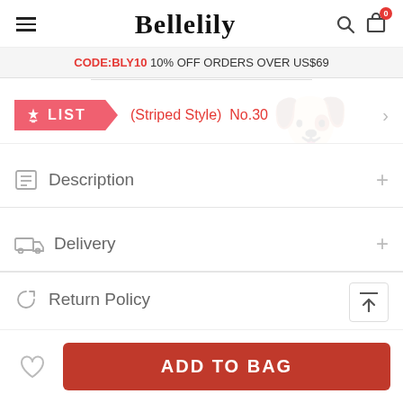Bellelily
CODE:BLY10 10% OFF ORDERS OVER US$69
LIST (Striped Style) No.30
Description
Delivery
Return Policy
ADD TO BAG